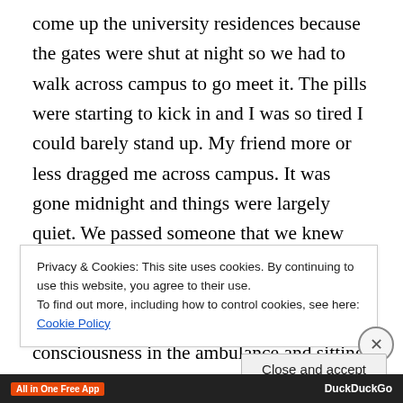come up the university residences because the gates were shut at night so we had to walk across campus to go meet it. The pills were starting to kick in and I was so tired I could barely stand up. My friend more or less dragged me across campus. It was gone midnight and things were largely quiet. We passed someone that we knew and Silver said that we were out for a walk whilst I leaned heavily on his arm. I was only semi-conscious. I drifted in and out of consciousness in the ambulance and sitting around at the hospital as people looked at me and talked about me. They put me in a bed and made me drink liquid
Privacy & Cookies: This site uses cookies. By continuing to use this website, you agree to their use.
To find out more, including how to control cookies, see here: Cookie Policy
Close and accept
All in One Free App   DuckDuckGo